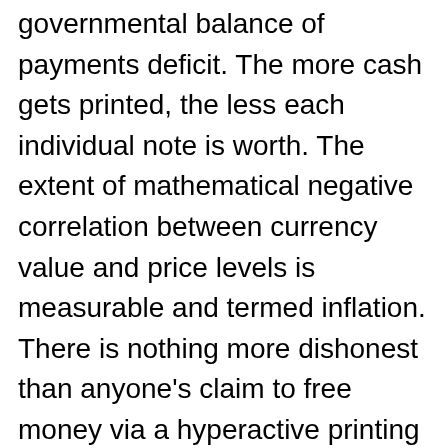governmental balance of payments deficit. The more cash gets printed, the less each individual note is worth. The extent of mathematical negative correlation between currency value and price levels is measurable and termed inflation. There is nothing more dishonest than anyone's claim to free money via a hyperactive printing press.
Krugman's political chicanery has become the thing of demeaning internet memes. When will his stature as a market guru recover after his behavior on Election Night